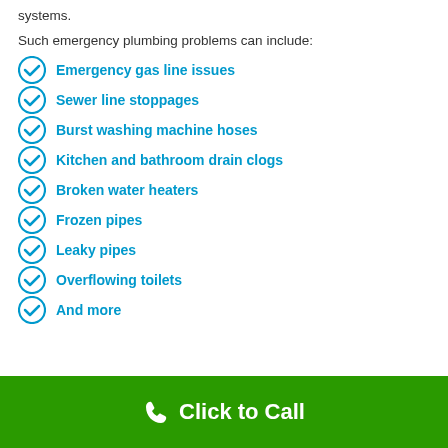systems.
Such emergency plumbing problems can include:
Emergency gas line issues
Sewer line stoppages
Burst washing machine hoses
Kitchen and bathroom drain clogs
Broken water heaters
Frozen pipes
Leaky pipes
Overflowing toilets
And more
Click to Call